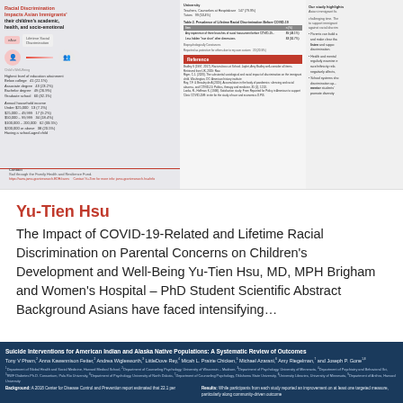[Figure (screenshot): Top banner showing a research poster/document about Asian immigrant health and racial discrimination, with tables, icons, and references]
Yu-Tien Hsu
The Impact of COVID-19-Related and Lifetime Racial Discrimination on Parental Concerns on Children's Development and Well-Being Yu-Tien Hsu, MD, MPH Brigham and Women's Hospital – PhD Student Scientific Abstract Background Asians have faced intensifying…
[Figure (screenshot): Bottom dark blue banner: Suicide Interventions for American Indian and Alaska Native Populations: A Systematic Review of Outcomes. Authors: Tony V Pham, Anna Kawennison Fetter, Andrea Wiglesworth, LittleDove Rey, Micah L. Prairie Chicken, Michael Azarani, Amy Riegelman, and Joseph P. Gone. Background and Results sections visible.]